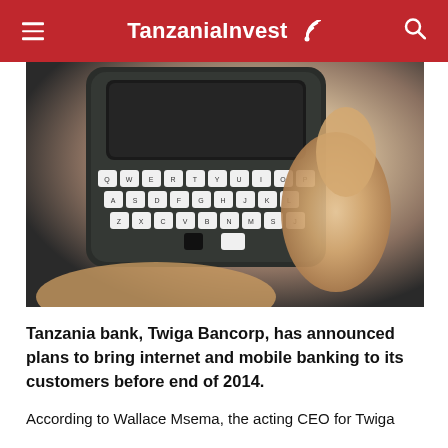TanzaniaInvest
[Figure (photo): Close-up photo of a hand holding a BlackBerry smartphone with a full QWERTY keyboard visible]
Tanzania bank, Twiga Bancorp, has announced plans to bring internet and mobile banking to its customers before end of 2014.
According to Wallace Msema, the acting CEO for Twiga